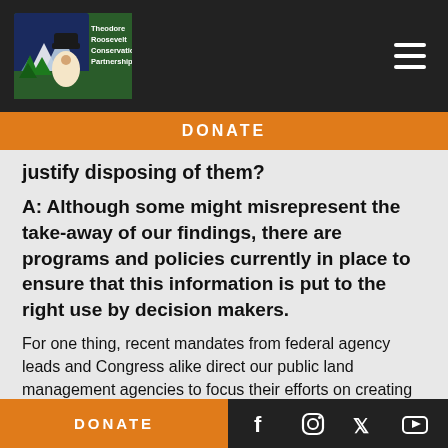[Figure (logo): Theodore Roosevelt Conservation Partnership logo — hat figure with mountains, green/navy/white colors, text alongside]
DONATE
justify disposing of them?
A: Although some might misrepresent the take-away of our findings, there are programs and policies currently in place to ensure that this information is put to the right use by decision makers.
For one thing, recent mandates from federal agency leads and Congress alike direct our public land management agencies to focus their efforts on creating new access to landlocked public lands.
DONATE